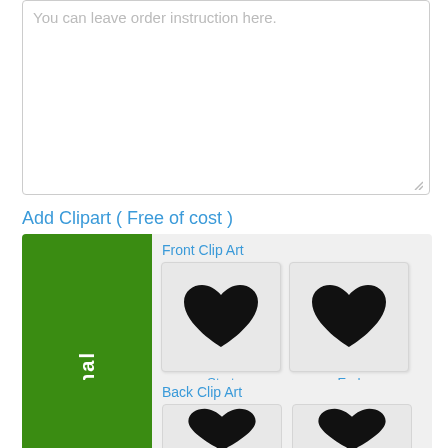You can leave order instruction here.
Add Clipart ( Free of cost )
Front Clip Art
[Figure (illustration): Heart clipart icon (Start position)]
Start
Upload Yours
[Figure (illustration): Heart clipart icon (End position)]
End
Upload Yours
Back Clip Art
[Figure (illustration): Heart clipart icon (Back Start position)]
[Figure (illustration): Heart clipart icon (Back End position)]